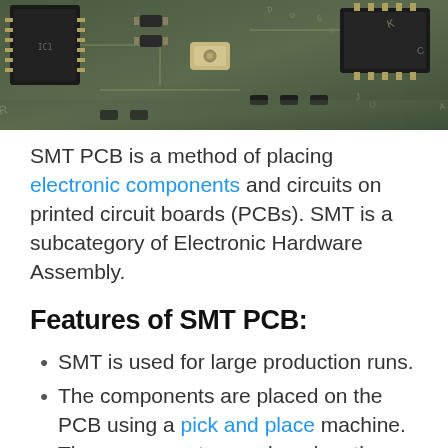[Figure (photo): Close-up photograph of a green PCB (printed circuit board) with SMT components including black ICs, inductors, and other surface-mount components soldered onto it.]
SMT PCB is a method of placing electronic components and circuits on printed circuit boards (PCBs). SMT is a subcategory of Electronic Hardware Assembly.
Features of SMT PCB:
SMT is used for large production runs.
The components are placed on the PCB using a pick and place machine. The components are placed on the PCB one at a time.
The process is automated which makes it faster and production more cost